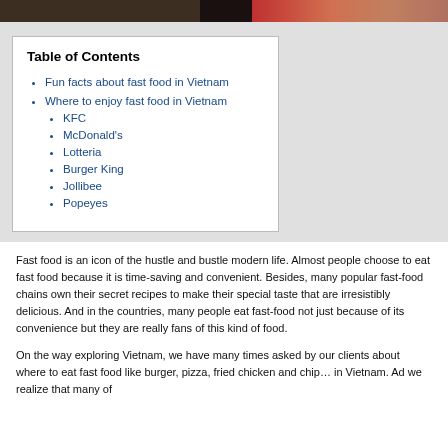[Figure (photo): Cropped photo strip showing food images at top of page]
Table of Contents
Fun facts about fast food in Vietnam
Where to enjoy fast food in Vietnam
KFC
McDonald's
Lotteria
Burger King
Jollibee
Popeyes
Fast food is an icon of the hustle and bustle modern life. Almost people choose to eat fast food because it is time-saving and convenient. Besides, many popular fast-food chains own their secret recipes to make their special taste that are irresistibly delicious. And in the countries, many people eat fast-food not just because of its convenience but they are really fans of this kind of food.
On the way exploring Vietnam, we have many times asked by our clients about where to eat fast food like burger, pizza, fried chicken and chip… in Vietnam. Ad we realize that many of